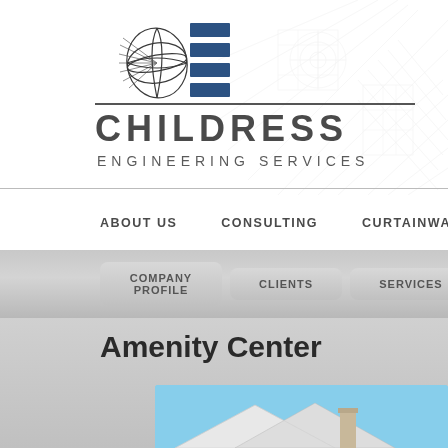[Figure (logo): Childress Engineering Services logo — globe/grid icon with blue rectangular bars beside it]
CHILDRESS
ENGINEERING SERVICES
ABOUT US   CONSULTING   CURTAINWALL   ST...
COMPANY PROFILE
CLIENTS
SERVICES
Amenity Center
[Figure (photo): Exterior photo of an amenity center building with a peaked roof and chimney against a blue sky]